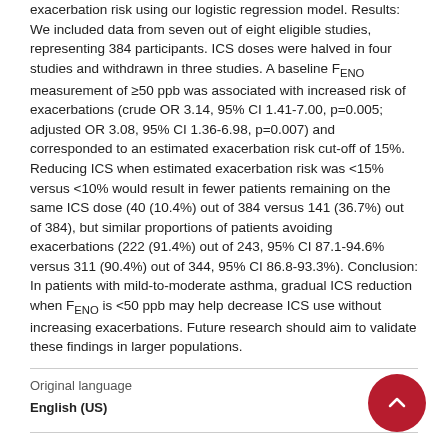exacerbation risk using our logistic regression model. Results: We included data from seven out of eight eligible studies, representing 384 participants. ICS doses were halved in four studies and withdrawn in three studies. A baseline FENO measurement of ≥50 ppb was associated with increased risk of exacerbations (crude OR 3.14, 95% CI 1.41-7.00, p=0.005; adjusted OR 3.08, 95% CI 1.36-6.98, p=0.007) and corresponded to an estimated exacerbation risk cut-off of 15%. Reducing ICS when estimated exacerbation risk was <15% versus <10% would result in fewer patients remaining on the same ICS dose (40 (10.4%) out of 384 versus 141 (36.7%) out of 384), but similar proportions of patients avoiding exacerbations (222 (91.4%) out of 243, 95% CI 87.1-94.6% versus 311 (90.4%) out of 344, 95% CI 86.8-93.3%). Conclusion: In patients with mild-to-moderate asthma, gradual ICS reduction when FENO is <50 ppb may help decrease ICS use without increasing exacerbations. Future research should aim to validate these findings in larger populations.
Original language
English (US)